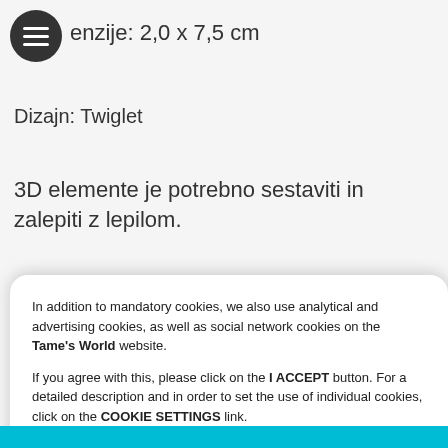Dimenzije: 2,0 x 7,5 cm
Dizajn: Twiglet
3D elemente je potrebno sestaviti in zalepiti z lepilom.
In addition to mandatory cookies, we also use analytical and advertising cookies, as well as social network cookies on the Tame's World website.

If you agree with this, please click on the I ACCEPT button. For a detailed description and in order to set the use of individual cookies, click on the COOKIE SETTINGS link.